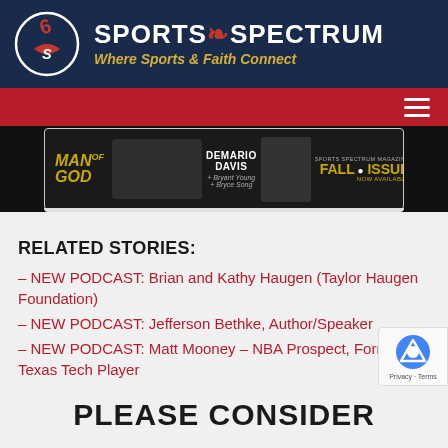[Figure (logo): Sports Spectrum logo — circular icon with stylized S and tagline 'Where Sports & Faith Connect' on dark navy background]
[Figure (banner): Promotional banner for Sports Spectrum Magazine featuring 'Man of God' text, DeMario Davis, and Fall Issue advertisement]
RELATED STORIES:
– NEW PODCAST: Brian and Kathy Haugen (Taylor Haugen Foundation)
– NEW PODCAST: Jefferson Bethke, Author/Speaker
– NEW PODCAST: Matt Mooney – NBA Prospect, Former Texas Tech Player
PLEASE CONSIDER